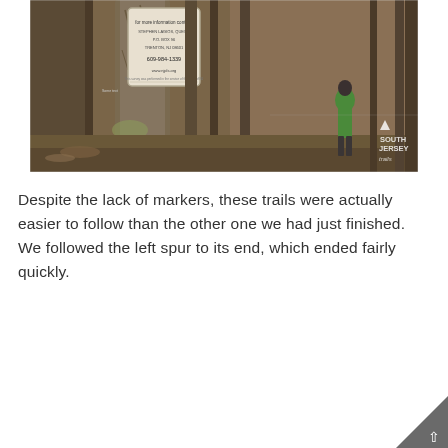[Figure (photo): Outdoor trail scene showing a sign posted on a tree trunk (with contact information text), bare winter trees in the background, and a person in a green jacket visible in the right portion of the image. A 'South Jersey Trails' watermark logo appears in the lower right of the photo.]
Despite the lack of markers, these trails were actually easier to follow than the other one we had just finished.  We followed the left spur to its end, which ended fairly quickly.